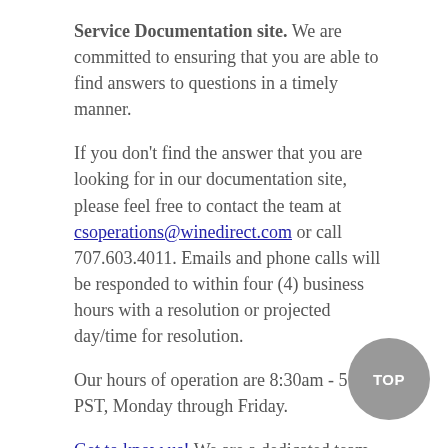Service Documentation site. We are committed to ensuring that you are able to find answers to questions in a timely manner.
If you don't find the answer that you are looking for in our documentation site, please feel free to contact the team at csoperations@winedirect.com or call 707.603.4011. Emails and phone calls will be responded to within four (4) business hours with a resolution or projected day/time for resolution.
Our hours of operation are 8:30am - 5:00pm PST, Monday through Friday.
Get to know us! We are a dedicated team working together to create an environment of success for our customers and each other.